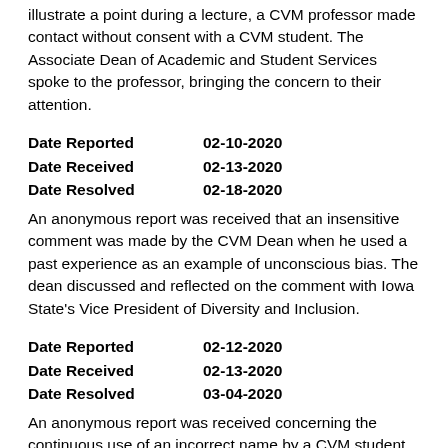illustrate a point during a lecture, a CVM professor made contact without consent with a CVM student. The Associate Dean of Academic and Student Services spoke to the professor, bringing the concern to their attention.
Date Reported 02-10-2020
Date Received 02-13-2020
Date Resolved 02-18-2020
An anonymous report was received that an insensitive comment was made by the CVM Dean when he used a past experience as an example of unconscious bias. The dean discussed and reflected on the comment with Iowa State’s Vice President of Diversity and Inclusion.
Date Reported 02-12-2020
Date Received 02-13-2020
Date Resolved 03-04-2020
An anonymous report was received concerning the continuous use of an incorrect name by a CVM student in